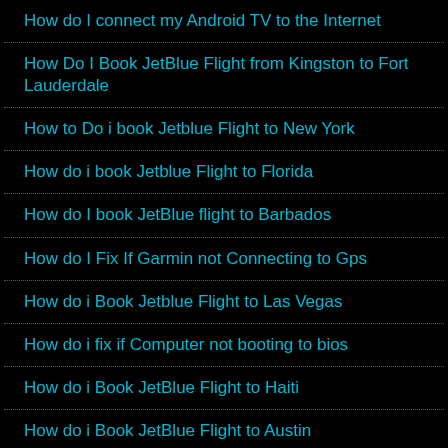How do I connect my Android TV to the Internet
How Do I Book JetBlue Flight from Kingston to Fort Lauderdale
How to Do i book Jetblue Flight to New York
How do i book Jetblue Flight to Florida
How do I book JetBlue flight to Barbados
How do I Fix If Garmin not Connecting to Gps
How do i Book Jetblue Flight to Las Vegas
How do i fix if Computer not booting to bios
How do i Book JetBlue Flight to Haiti
How do i Book JetBlue Flight to Austin
How do i book Jetblue Flights to Puerto Rico
How do i book Jetblue Flights to Atlanta
What are the benefits of choosing Internet Bundles